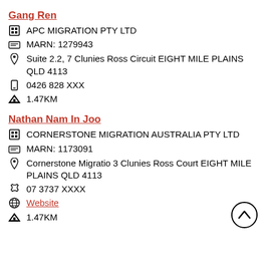Gang Ren
APC MIGRATION PTY LTD
MARN: 1279943
Suite 2.2, 7 Clunies Ross Circuit EIGHT MILE PLAINS QLD 4113
0426 828 XXX
1.47KM
Nathan Nam In Joo
CORNERSTONE MIGRATION AUSTRALIA PTY LTD
MARN: 1173091
Cornerstone Migratio 3 Clunies Ross Court EIGHT MILE PLAINS QLD 4113
07 3737 XXXX
Website
1.47KM